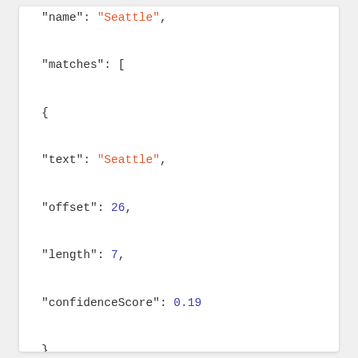"name": "Seattle",
"matches": [
{
"text": "Seattle",
"offset": 26,
"length": 7,
"confidenceScore": 0.19
}
],
"language": "en",
"id": "Seattle",
"url": "https://en.wikipedia.org/wiki/Seattle",